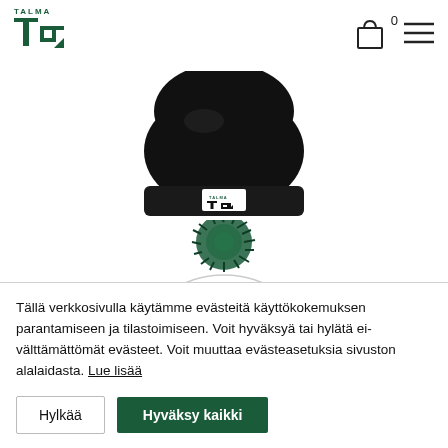[Figure (logo): Talma logo with green IT monogram letters]
[Figure (illustration): Shopping cart icon with 0 badge and hamburger menu icon]
[Figure (photo): Black winter beanie hat with Talma IT logo patch on cuff]
[Figure (illustration): Dark green pom-pom on top of a black beanie hat, partially visible]
Tällä verkkosivulla käytämme evästeitä käyttökokemuksen parantamiseen ja tilastoimiseen. Voit hyväksyä tai hylätä ei-välttämättömät evästeet. Voit muuttaa evästeasetuksia sivuston alalaidasta. Lue lisää
Hylkää
Hyväksy kaikki